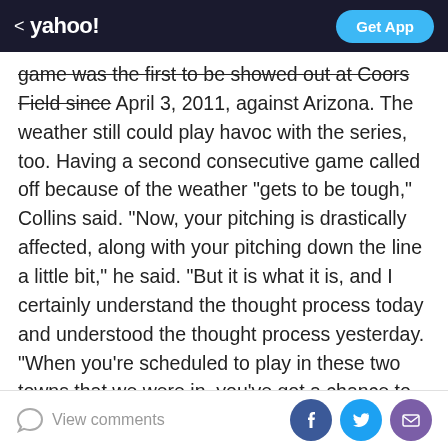< yahoo!  Get App
game was the first to be showed out at Coors Field since April 3, 2011, against Arizona. The weather still could play havoc with the series, too. Having a second consecutive game called off because of the weather "gets to be tough," Collins said. "Now, your pitching is drastically affected, along with your pitching down the line a little bit," he said. "But it is what it is, and I certainly understand the thought process today and understood the thought process yesterday. "When you're scheduled to play in these two towns that we were in, you've got a chance to run into bad weather at this time of year and we have. We just adjust." Rockies manager Walt Weiss' scheduled availability with reporters before the game
View comments